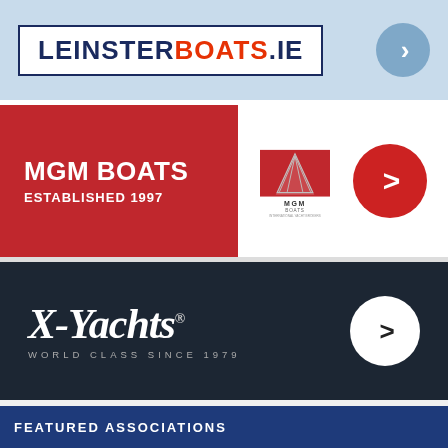[Figure (logo): LeinsterBoats.ie logo banner with blue circle arrow button on light blue background]
[Figure (logo): MGM Boats - Established 1997 red banner with MGM logo and red circle arrow button]
[Figure (logo): X-Yachts World Class Since 1979 dark navy banner with white circle arrow]
FEATURED ASSOCIATIONS
[Figure (logo): ICRA - Irish Cruiser Racing Association banner on orange background with Latest news and updates]